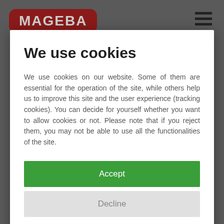[Figure (logo): MAGEBA logo — dark red rounded rectangle badge with grey text]
[Figure (illustration): Hamburger menu icon — three horizontal black bars]
We use cookies
We use cookies on our website. Some of them are essential for the operation of the site, while others help us to improve this site and the user experience (tracking cookies). You can decide for yourself whether you want to allow cookies or not. Please note that if you reject them, you may not be able to use all the functionalities of the site.
Accept
Decline
Privacy policy | Legal notice